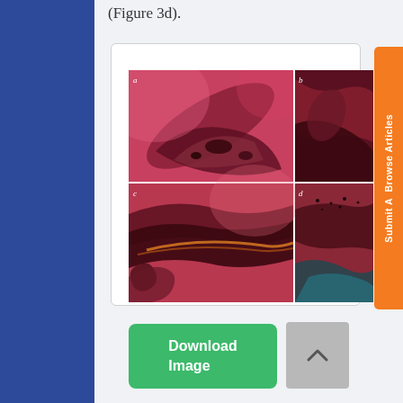(Figure 3d).
[Figure (photo): Four-panel grid of microscopy images (a, b, c, d) showing tissue cross-sections with reddish hues, dark fibrous structures, labeled a (top-left), b (top-right), c (bottom-left), d (bottom-right).]